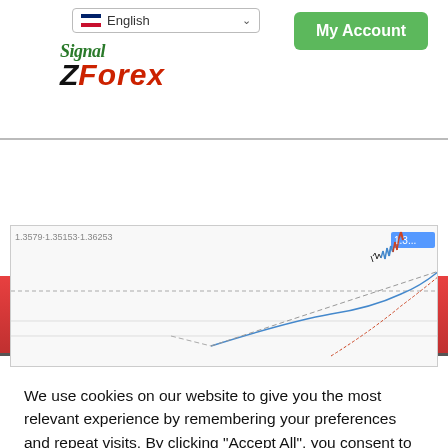SignalZForex - My Account
[Figure (screenshot): Forex chart showing price action with candlesticks and dashed trend lines. Price label shows 1.3 range values.]
We use cookies on our website to give you the most relevant experience by remembering your preferences and repeat visits. By clicking "Accept All", you consent to the use of ALL the cookies. However, you may visit "Cookie Settings" to provide a controlled consent.
Cookie Settings | Accept All